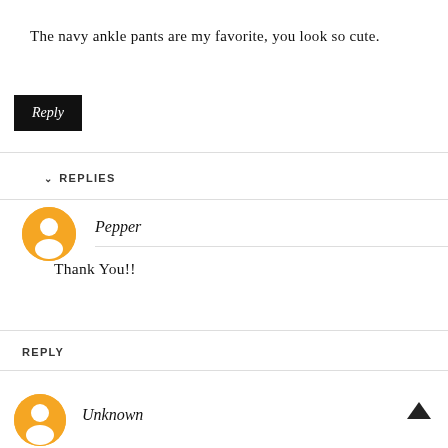The navy ankle pants are my favorite, you look so cute.
Reply
↓ REPLIES
Pepper
Thank You!!
REPLY
Unknown